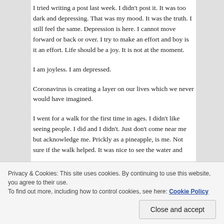I tried writing a post last week. I didn't post it. It was too dark and depressing. That was my mood. It was the truth. I still feel the same. Depression is here. I cannot move forward or back or over. I try to make an effort and boy is it an effort. Life should be a joy. It is not at the moment.
I am joyless. I am depressed.
Coronavirus is creating a layer on our lives which we never would have imagined.
I went for a walk for the first time in ages. I didn't like seeing people. I did and I didn't. Just don't come near me but acknowledge me. Prickly as a pineapple, is me. Not sure if the walk helped. It was nice to see the water and
Privacy & Cookies: This site uses cookies. By continuing to use this website, you agree to their use.
To find out more, including how to control cookies, see here: Cookie Policy
wrong way and that compliment you said will backfire like